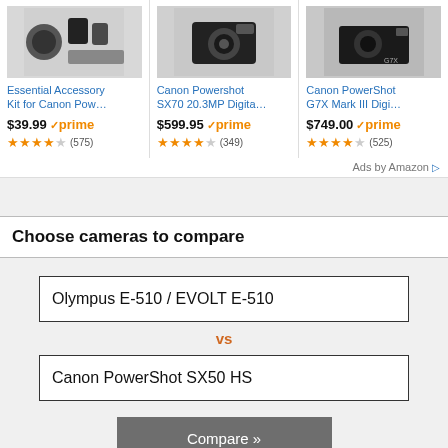[Figure (screenshot): Amazon ad card: Essential Accessory Kit for Canon Pow... product image with camera accessories]
[Figure (screenshot): Amazon ad card: Canon Powershot SX70 20.3MP Digita... product image of camera]
[Figure (screenshot): Amazon ad card: Canon PowerShot G7X Mark III Digi... product image of compact camera]
Essential Accessory Kit for Canon Pow...
$39.99 prime (575 reviews, ~3.5 stars)
Canon Powershot SX70 20.3MP Digita...
$599.95 prime (349 reviews, ~4 stars)
Canon PowerShot G7X Mark III Digi...
$749.00 prime (525 reviews, ~4 stars)
Ads by Amazon
Choose cameras to compare
Olympus E-510 / EVOLT E-510
vs
Canon PowerShot SX50 HS
Compare »